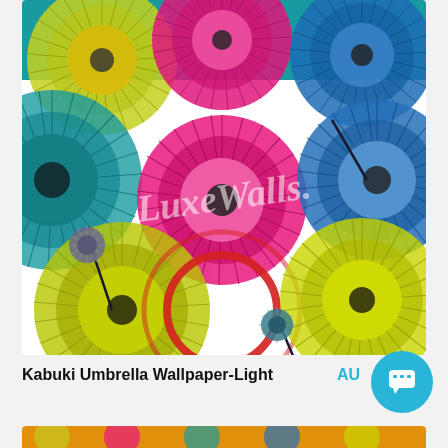[Figure (illustration): Colorful Kabuki Umbrella wallpaper pattern showing overlapping circular Japanese parasol/umbrella designs in bright colors including pink, teal, yellow-green, red, and blue on a white background. A 'LuxeWalls.' watermark is visible across the center.]
Kabuki Umbrella Wallpaper-Light
AU
[Figure (illustration): Partial view of another colorful wallpaper pattern at the bottom of the page.]